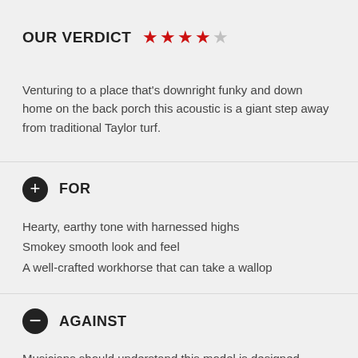OUR VERDICT ★★★★☆
Venturing to a place that's downright funky and down home on the back porch this acoustic is a giant step away from traditional Taylor turf.
FOR
Hearty, earthy tone with harnessed highs
Smokey smooth look and feel
A well-crafted workhorse that can take a wallop
AGAINST
Musicians should understand this model is designed